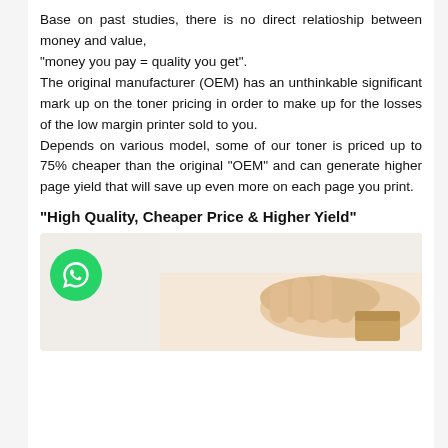Base on past studies, there is no direct relatioship between money and value, "money you pay = quality you get". The original manufacturer (OEM) has an unthinkable significant mark up on the toner pricing in order to make up for the losses of the low margin printer sold to you. Depends on various model, some of our toner is priced up to 75% cheaper than the original "OEM" and can generate higher page yield that will save up even more on each page you print.
"High Quality, Cheaper Price & Higher Yield"
[Figure (photo): Photo of hands handling a toner cartridge, with a WhatsApp button overlay in the bottom left corner]